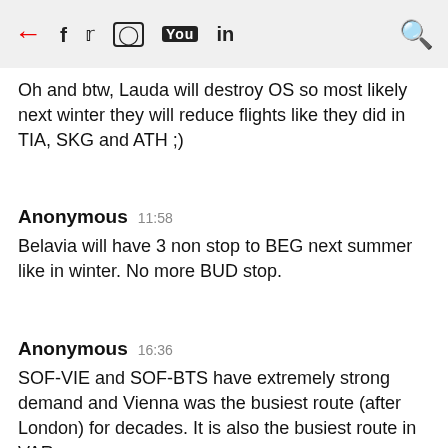← f 🐦 📷 ▶ in 🔍
Oh and btw, Lauda will destroy OS so most likely next winter they will reduce flights like they did in TIA, SKG and ATH ;)
Anonymous  11:58
Belavia will have 3 non stop to BEG next summer like in winter. No more BUD stop.
Anonymous  16:36
SOF-VIE and SOF-BTS have extremely strong demand and Vienna was the busiest route (after London) for decades. It is also the busiest route in VAR.